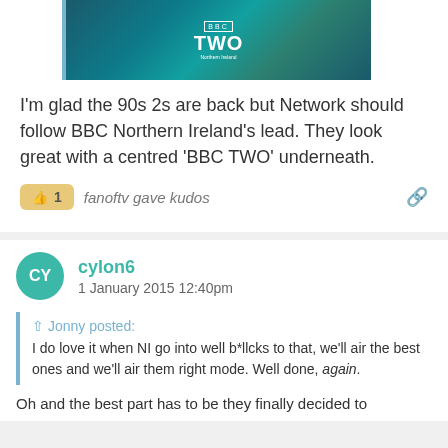[Figure (screenshot): BBC TWO Northern Ireland logo on dark teal/blue textured background]
I'm glad the 90s 2s are back but Network should follow BBC Northern Ireland's lead. They look great with a centred 'BBC TWO' underneath.
👍 1   fanoftv gave kudos
cylon6
1 January 2015 12:40pm
↑ Jonny posted:
I do love it when NI go into well b*llcks to that, we'll air the best ones and we'll air them right mode. Well done, again.
Oh and the best part has to be they finally decided to